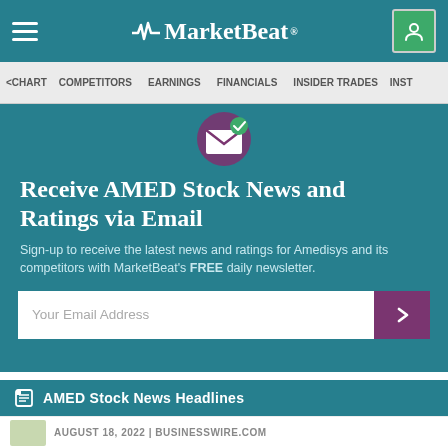MarketBeat
CHART  COMPETITORS  EARNINGS  FINANCIALS  INSIDER TRADES
Receive AMED Stock News and Ratings via Email
Sign-up to receive the latest news and ratings for Amedisys and its competitors with MarketBeat's FREE daily newsletter.
Your Email Address
AMED Stock News Headlines
AUGUST 18, 2022 | BUSINESSWIRE.COM